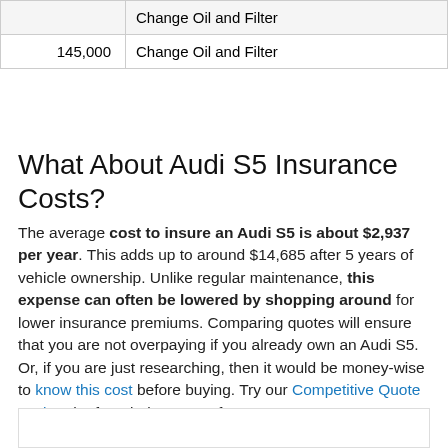|  | Change Oil and Filter |
| 145,000 | Change Oil and Filter |
What About Audi S5 Insurance Costs?
The average cost to insure an Audi S5 is about $2,937 per year. This adds up to around $14,685 after 5 years of vehicle ownership. Unlike regular maintenance, this expense can often be lowered by shopping around for lower insurance premiums. Comparing quotes will ensure that you are not overpaying if you already own an Audi S5. Or, if you are just researching, then it would be money-wise to know this cost before buying. Try our Competitive Quote Tool or the form below to get free quotes. Advertising Disclosure